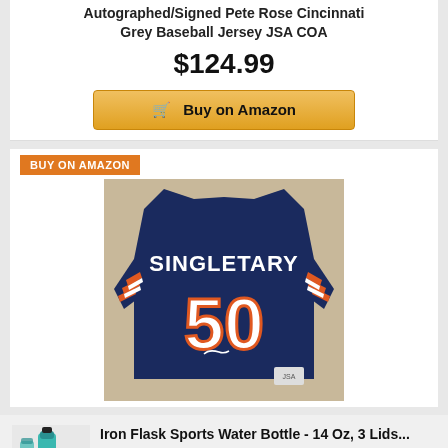Autographed/Signed Pete Rose Cincinnati Grey Baseball Jersey JSA COA
$124.99
🛒 Buy on Amazon
BUY ON AMAZON
[Figure (photo): Chicago Bears #50 Singletary autographed navy football jersey with orange and white stripes]
Iron Flask Sports Water Bottle - 14 Oz, 3 Lids...
★★★★★ $17.95
🛒 Buy on Amazon